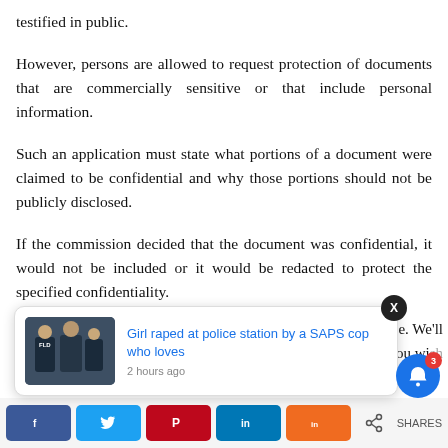testified in public.
However, persons are allowed to request protection of documents that are commercially sensitive or that include personal information.
Such an application must state what portions of a document were claimed to be confidential and why those portions should not be publicly disclosed.
If the commission decided that the document was confidential, it would not be included or it would be redacted to protect the specified confidentiality.
[Figure (screenshot): News popup overlay showing article: 'Girl raped at police station by a SAPS cop who loves' with thumbnail image of police officers, posted 2 hours ago. Includes an X close button.]
[Figure (screenshot): Social media sharing buttons bar: Facebook, Twitter, Pinterest, LinkedIn, Mix, and a share icon. Also a blue notification bell with badge showing 3.]